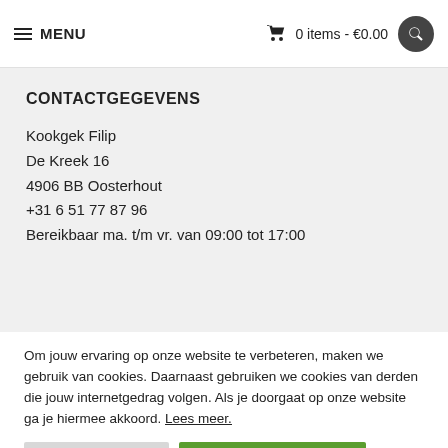MENU | 0 items - €0.00
CONTACTGEGEVENS
Kookgek Filip
De Kreek 16
4906 BB Oosterhout
+31 6 51 77 87 96
Bereikbaar ma. t/m vr. van 09:00 tot 17:00
Om jouw ervaring op onze website te verbeteren, maken we gebruik van cookies. Daarnaast gebruiken we cookies van derden die jouw internetgedrag volgen. Als je doorgaat op onze website ga je hiermee akkoord. Lees meer.
Cookie instellingen | ALLES ACCEPTEREN